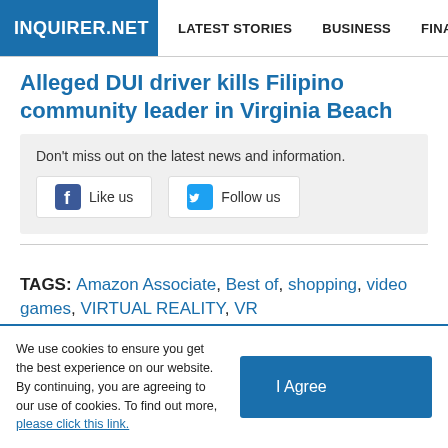INQUIRER.NET | LATEST STORIES | BUSINESS | FINANCE | TECHNOLO
Alleged DUI driver kills Filipino community leader in Virginia Beach
Don't miss out on the latest news and information.
Like us   Follow us
TAGS: Amazon Associate, Best of, shopping, video games, VIRTUAL REALITY, VR
We use cookies to ensure you get the best experience on our website. By continuing, you are agreeing to our use of cookies. To find out more, please click this link.